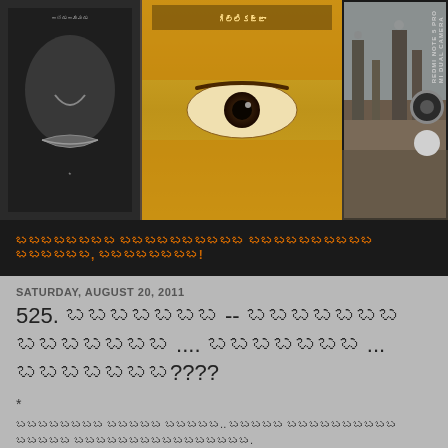[Figure (photo): Three book covers displayed on a shelf. Left book shows a black and white face/lips illustration. Center book shows a woman's eye with yellow/golden head covering. Right side shows a street scene photo. Camera brand label (REDMI NOTE 5 PRO MI DUAL CAMERA) with dual lens circles visible on the far right.]
బబబబబబబబ బబబబబబబబబబ బబబబబబబబబబ బబబబబబ, బబబబబబబబ!
SATURDAY, AUGUST 20, 2011
525. బబబబబబబ -- బబబబబబబ బబబబబబబ .... బబబబబబబ ... బబబబబబబ????
*
బబబబబబబబ బబబబబ బబబబబ.. బబబబబ బబబబబబబబబబ బబబబబ బబబబబబబబబబబబబబ. బబబబబ బబబబబ ... బబ బబబబబబబ బబబబబ బబబబబబబబబబబబ బబబబబ బబబబబబబబబబబబబబ